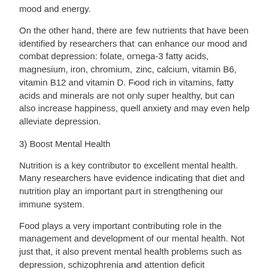mood and energy.
On the other hand, there are few nutrients that have been identified by researchers that can enhance our mood and combat depression: folate, omega-3 fatty acids, magnesium, iron, chromium, zinc, calcium, vitamin B6, vitamin B12 and vitamin D. Food rich in vitamins, fatty acids and minerals are not only super healthy, but can also increase happiness, quell anxiety and may even help alleviate depression.
3) Boost Mental Health
Nutrition is a key contributor to excellent mental health. Many researchers have evidence indicating that diet and nutrition play an important part in strengthening our immune system.
Food plays a very important contributing role in the management and development of our mental health. Not just that, it also prevent mental health problems such as depression, schizophrenia and attention deficit hyperactivity disorder and Alzheimer’s disease.
Here are five food that keep the mind working at its best: Lean protein, leafy greens, fatty fish, whole grain, and yogurt with active cultures.
4) Increase Energy Level